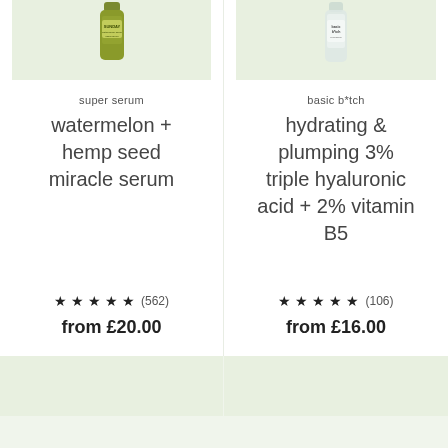[Figure (photo): Partial view of a green/olive tinted serum bottle with SUNDAY label on a light green background, cropped at top]
super serum
watermelon + hemp seed miracle serum
★ ★ ★ ★ ★ (562)
from £20.00
[Figure (photo): Partial view of a clear/glass serum bottle on a light green background, cropped at top]
basic b*tch
hydrating & plumping 3% triple hyaluronic acid + 2% vitamin B5
★ ★ ★ ★ ★ (106)
from £16.00
[Figure (photo): Light green card background, bottom row left]
[Figure (photo): Light green card background, bottom row right]